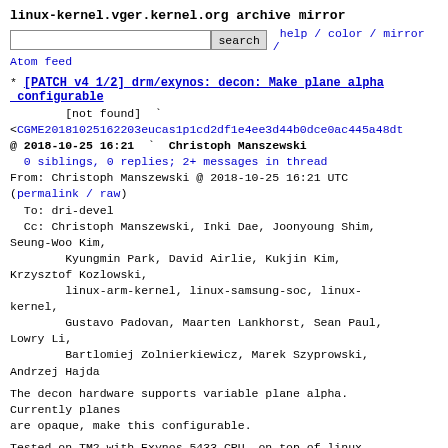linux-kernel.vger.kernel.org archive mirror
search  help / color / mirror / Atom feed
[PATCH v4 1/2] drm/exynos: decon: Make plane alpha configurable
[not found]
<CGME20181025162203eucas1p1cd2df1e4ee3d44b0dce0ac445a48d
@ 2018-10-25 16:21  Christoph Manszewski
  0 siblings, 0 replies; 2+ messages in thread
From: Christoph Manszewski @ 2018-10-25 16:21 UTC
(permalink / raw)
  To: dri-devel
  Cc: Christoph Manszewski, Inki Dae, Joonyoung Shim, Seung-Woo Kim,
        Kyungmin Park, David Airlie, Kukjin Kim, Krzysztof Kozlowski,
        linux-arm-kernel, linux-samsung-soc, linux-kernel,
        Gustavo Padovan, Maarten Lankhorst, Sean Paul, Lowry Li,
        Bartlomiej Zolnierkiewicz, Marek Szyprowski,
  Andrzej Hajda
The decon hardware supports variable plane alpha.
Currently planes
are opaque, make this configurable.
Tested on TM2 with Exynos 5433 CPU, on top of linux-